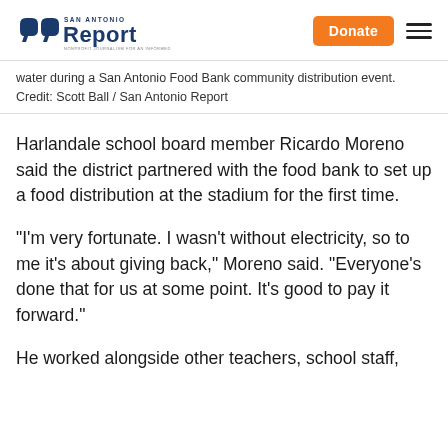San Antonio Report — Donate
water during a San Antonio Food Bank community distribution event. Credit: Scott Ball / San Antonio Report
Harlandale school board member Ricardo Moreno said the district partnered with the food bank to set up a food distribution at the stadium for the first time.
“I’m very fortunate. I wasn’t without electricity, so to me it’s about giving back,” Moreno said. “Everyone’s done that for us at some point. It’s good to pay it forward.”
He worked alongside other teachers, school staff,